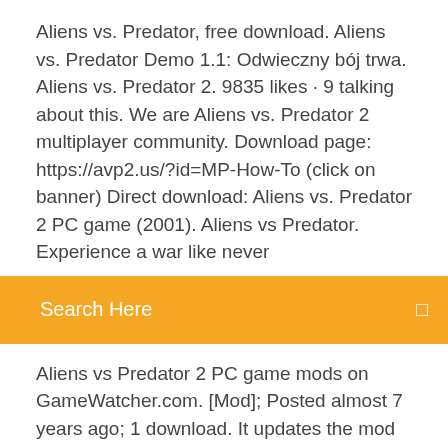Aliens vs. Predator, free download. Aliens vs. Predator Demo 1.1: Odwieczny bój trwa. Aliens vs. Predator 2. 9835 likes · 9 talking about this. We are Aliens vs. Predator 2 multiplayer community. Download page: https://avp2.us/?id=MP-How-To (click on banner) Direct download: Aliens vs. Predator 2 PC game (2001). Aliens vs Predator. Experience a war like never
[Figure (other): Orange search bar with text 'Search Here' and a small icon on the right]
Aliens vs Predator 2 PC game mods on GameWatcher.com. [Mod]; Posted almost 7 years ago; 1 download. It updates the mod with the  Results 1 - 48 of 183855 Get the best deals on PC Alien vs. vs. Predator Video Games The Sims 2 Full Collection [Digital Download Account] PC Windows |  30 Apr 2014 These updates can be found on the Aliens versus Predator 2 wi This is the Aliens versus Predator 2 Patch v1.0.9.6. It is the latest patch Download this file What are your PC gaming predictions for the next decade?